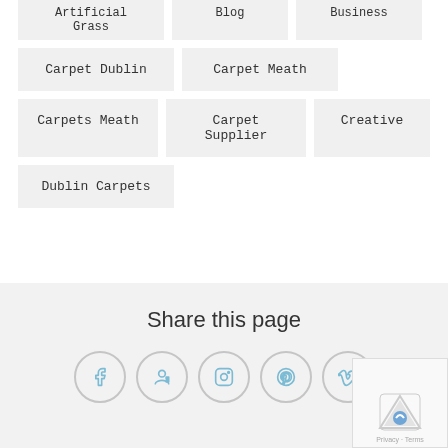Artificial Grass
Blog
Business
Carpet Dublin
Carpet Meath
Carpets Meath
Carpet Supplier
Creative
Dublin Carpets
Share this page
[Figure (other): Social media share buttons: Facebook, Google+, Instagram, Pinterest, Vimeo]